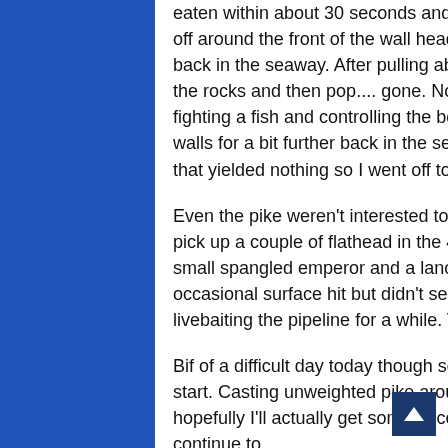eaten within about 30 seconds and the fish took off like a rocket, unfortunately he took off around the front of the wall heading north while the tide and swell was dragging me back in the seaway.   After pulling about 50 metres of line off I felt the line dragging over the rocks and then pop.... gone.  Not much I could have done there, just too rough to be fighting a fish and controlling the boat at the same time.  I tried casting lures around the walls for a bit further back in the seaway where I could actually stand up for a while but that yielded nothing so I went off to get more livies.
Even the pike weren't interested today and it took ages to just get 4 in the well, but I did pick up a couple of flathead in the 40cm range and a couple of small reefie types, a small spangled emperor and a lancer.  I tried drifting the flats  for a while, saw the occasional surface hit but didn't see any kings.   Went back to the seaway and tried livebaiting the pipeline for a while.  That yielded nothing so gave it away at 9am.
Bif of a difficult day today though some of it was my fault, got on the water late for a start.  Casting unweighted pike around the north wall has alot of potential though, hopefully I'll actually get some decent conditions to try it out as soon.  Water temps continue to